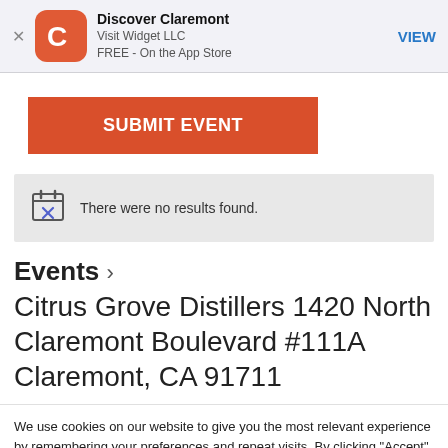[Figure (screenshot): App Store banner with Discover Claremont app icon (orange rounded square with white C letter), app name, publisher, and VIEW button]
SUBMIT EVENT
There were no results found.
Events ›
Citrus Grove Distillers 1420 North Claremont Boulevard #111A Claremont, CA 91711
We use cookies on our website to give you the most relevant experience by remembering your preferences and repeat visits. By clicking “Accept”, you consent to the use of ALL the cookies.
Do not sell my personal information